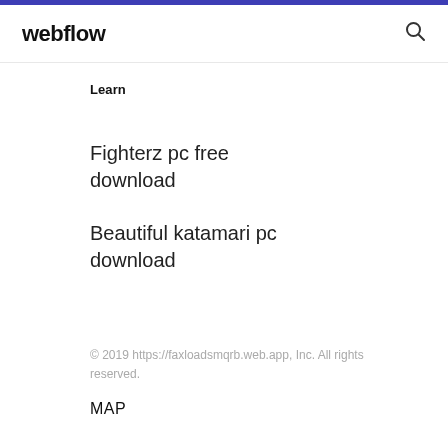webflow
Learn
Fighterz pc free download
Beautiful katamari pc download
© 2019 https://faxloadsmqrb.web.app, Inc. All rights reserved.
MAP